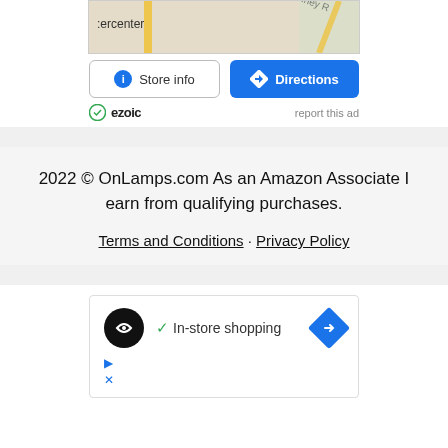[Figure (screenshot): Google Maps store info widget showing a partial map with Store info and Directions buttons, and an ezoic ad badge with 'report this ad' link]
2022 © OnLamps.com As an Amazon Associate I earn from qualifying purchases.

Terms and Conditions · Privacy Policy
[Figure (screenshot): Advertisement box showing a black circular logo, checkmark with 'In-store shopping' text, and a blue directions button with play and close icons below]